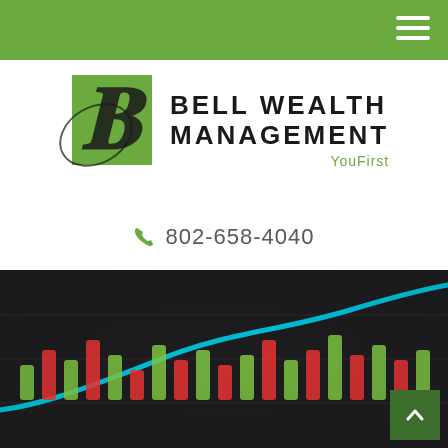Bell Wealth Management — navigation header bar
[Figure (logo): Bell Wealth Management logo: green square with stylized cursive B overlapping, beside bold sans-serif text BELL WEALTH MANAGEMENT with green YouFirst tagline]
802-658-4040
[Figure (photo): Blurred close-up photo of colorful financial stock market chart candlesticks (red and green) with a teal/cyan line on dark background]